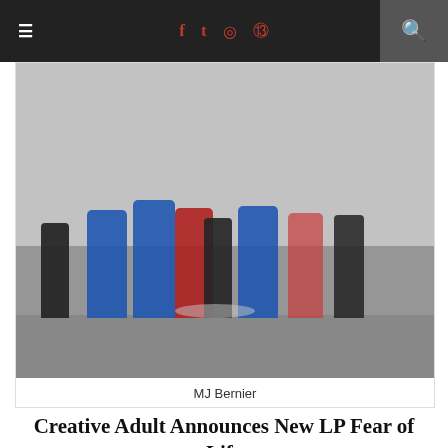≡  f  t  [instagram]  [pinterest]  [search]
[Figure (photo): Band photo showing group of people standing against a wall, some figures colored blue and red, others in black and white.]
MJ Bernier
Creative Adult Announces New LP Fear of Life
Out August 5, 2016 on Run For Cover Records
Noisey Premieres New Track “Charged” & Video